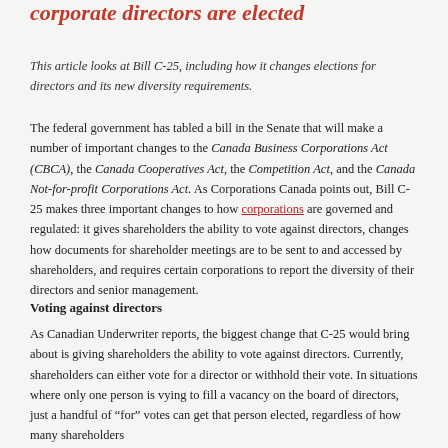corporate directors are elected
This article looks at Bill C-25, including how it changes elections for directors and its new diversity requirements.
The federal government has tabled a bill in the Senate that will make a number of important changes to the Canada Business Corporations Act (CBCA), the Canada Cooperatives Act, the Competition Act, and the Canada Not-for-profit Corporations Act. As Corporations Canada points out, Bill C-25 makes three important changes to how corporations are governed and regulated: it gives shareholders the ability to vote against directors, changes how documents for shareholder meetings are to be sent to and accessed by shareholders, and requires certain corporations to report the diversity of their directors and senior management.
Voting against directors
As Canadian Underwriter reports, the biggest change that C-25 would bring about is giving shareholders the ability to vote against directors. Currently, shareholders can either vote for a director or withhold their vote. In situations where only one person is vying to fill a vacancy on the board of directors, just a handful of “for” votes can get that person elected, regardless of how many shareholders